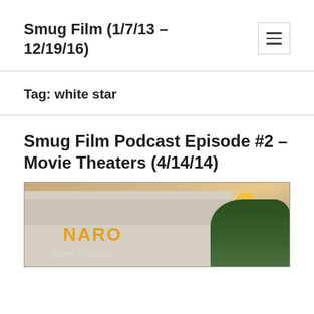Smug Film (1/7/13 – 12/19/16)
Tag: white star
Smug Film Podcast Episode #2 – Movie Theaters (4/14/14)
[Figure (photo): Painting of the NARO movie theater building at dusk, with a warm sky, a lit lamp post, and trees on the right. The theater sign reads NARO and below it ALFRED HITCHCOCK.]